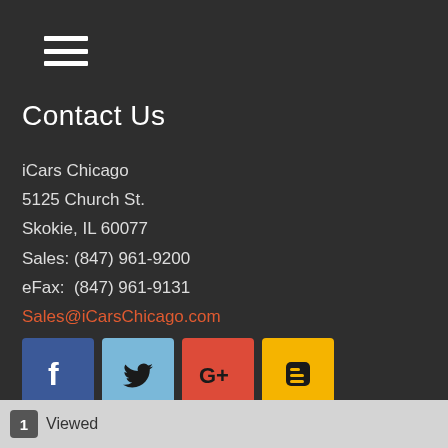[Figure (other): Hamburger menu icon — three horizontal white lines on dark background]
Contact Us
iCars Chicago
5125 Church St.
Skokie, IL 60077
Sales: (847) 961-9200
eFax:  (847) 961-9131
Sales@iCarsChicago.com
[Figure (other): Row of four social media icons: Facebook (blue), Twitter (light blue), Google+ (red), Blogger (yellow)]
Hours
| Monday: | 10:00AM - 7:00PM |
| Tuesday: | 10:00AM - 7:00PM |
| Wednesday: | 10:00AM - 7:00PM |
1  Viewed